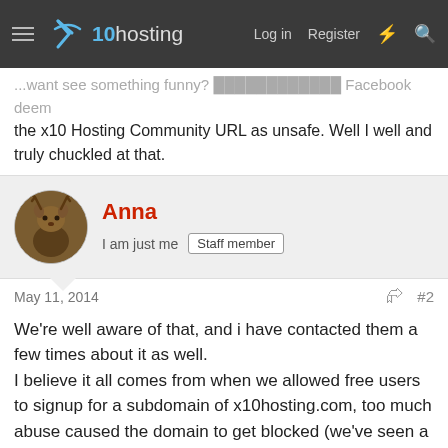x10hosting — Log in | Register
the x10 Hosting Community URL as unsafe. Well I well and truly chuckled at that.
Anna
I am just me  Staff member
May 11, 2014  #2
We're well aware of that, and i have contacted them a few times about it as well.
I believe it all comes from when we allowed free users to signup for a subdomain of x10hosting.com, too much abuse caused the domain to get blocked (we've seen a few facebook phishing pages over the years for instance, all shut down as quick as possible of course). It is also possible that at that time someone actually used that specific subdomain on free hosting with illegal content.